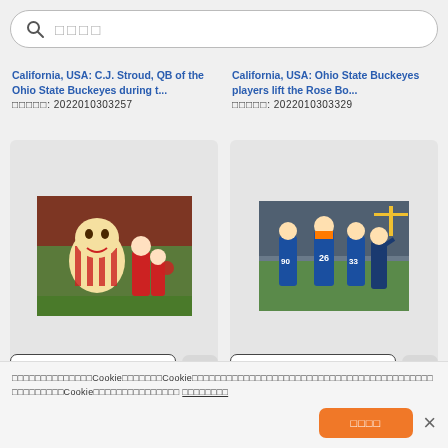□□□□ (search bar)
California, USA: C.J. Stroud, QB of the Ohio State Buckeyes during t...
□□□□□: 2022010303257
California, USA: Ohio State Buckeyes players lift the Rose Bo...
□□□□□: 2022010303329
[Figure (photo): Ohio State Buckeyes mascot with cheerleaders at a football game]
[Figure (photo): Florida Gators football team running onto field with coach]
Cookie notice bar with accept button and close button